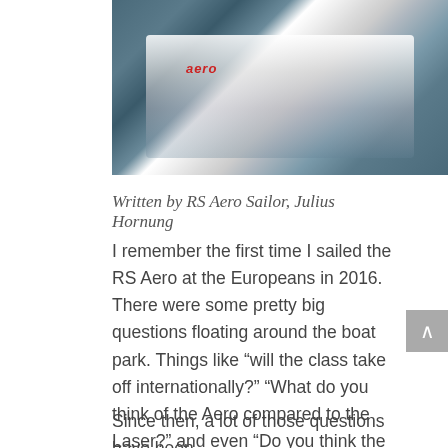[Figure (photo): Action sailing photo showing RS Aero sailboat with sailor hiking out, water splashing, white hull with 'aero' branding visible, another boat in background]
Written by RS Aero Sailor, Julius Hornung
I remember the first time I sailed the RS Aero at the Europeans in 2016. There were some pretty big questions floating around the boat park. Things like “will the class take off internationally?” “What do you think of the Aero compared to the Laser?” and even “Do you think the Aero will ever make it to the Olympics?”
Since then, a lot of those questions have been answered. There were some others too...